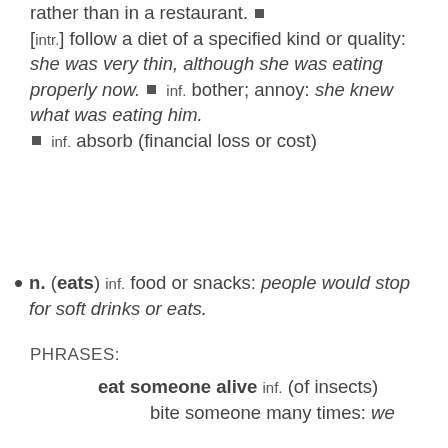rather than in a restaurant. ■ [intr.] follow a diet of a specified kind or quality: she was very thin, although she was eating properly now. ■ inf. bother; annoy: she knew what was eating him. ■ inf. absorb (financial loss or cost)
n. (eats) inf. food or snacks: people would stop for soft drinks or eats.
PHRASES:
eat someone alive inf. (of insects) bite someone many times: we